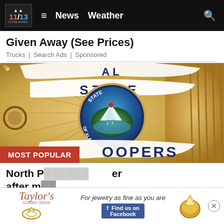11/13 News Weather
Given Away (See Prices)
Trucks | Search Ads | Sponsored
[Figure (photo): Close-up of an Alaska State Troopers badge showing 'STATE' banner and the State of Alaska seal in the center circle, with ornate gold metallic detail.]
MOST POPULAR
North P... ...er after m...
[Figure (advertisement): Taylor's Golden-Stone jewelry store advertisement with text 'For jewelry as fine as you are' and Facebook find us badge, with image of a gold pendant.]